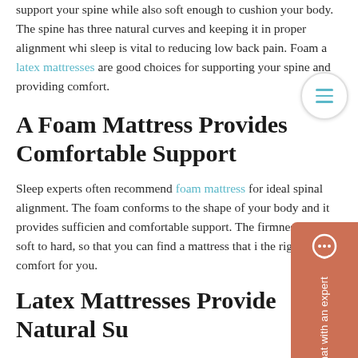support your spine while also soft enough to cushion your body. The spine has three natural curves and keeping it in proper alignment while sleep is vital to reducing low back pain. Foam and latex mattresses are good choices for supporting your spine and providing comfort.
A Foam Mattress Provides Comfortable Support
Sleep experts often recommend foam mattresses for ideal spinal alignment. The foam conforms to the shape of your body and it provides sufficient and comfortable support. The firmness ranges from soft to hard, so that you can find a mattress that is the right level of comfort for you.
Latex Mattresses Provide Natural Support